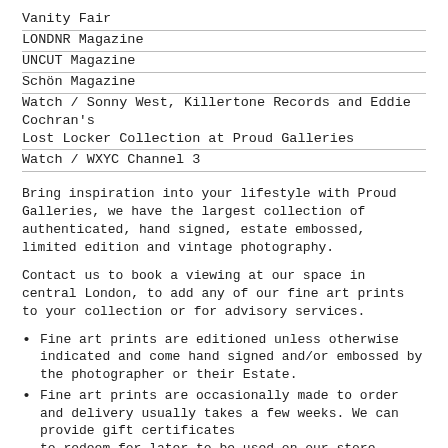Vanity Fair
LONDNR Magazine
UNCUT Magazine
Schön Magazine
Watch / Sonny West, Killertone Records and Eddie Cochran's Lost Locker Collection at Proud Galleries
Watch / WXYC Channel 3
Bring inspiration into your lifestyle with Proud Galleries, we have the largest collection of authenticated, hand signed, estate embossed, limited edition and vintage photography.
Contact us to book a viewing at our space in central London, to add any of our fine art prints to your collection or for advisory services.
Fine art prints are editioned unless otherwise indicated and come hand signed and/or embossed by the photographer or their Estate.
Fine art prints are occasionally made to order and delivery usually takes a few weeks. We can provide gift certificates to redeem for later to be used on our store.